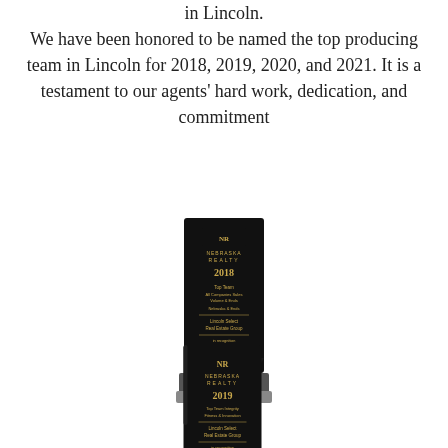in Lincoln.
We have been honored to be named the top producing team in Lincoln for 2018, 2019, 2020, and 2021. It is a testament to our agents' hard work, dedication, and commitment
[Figure (photo): A tall black Nebraska Realty award trophy for 2018 - Top Team All Companies Sales Volume & Ends, Lincoln Select Real Estate Group, in recognition of your outstanding professionalism and commitment to our homes, with a clear glass base.]
[Figure (photo): A tall black Nebraska Realty award trophy for 2019 - Top Team Integrity, Lincoln Select Real Estate Group, in recognition of your outstanding performance.]